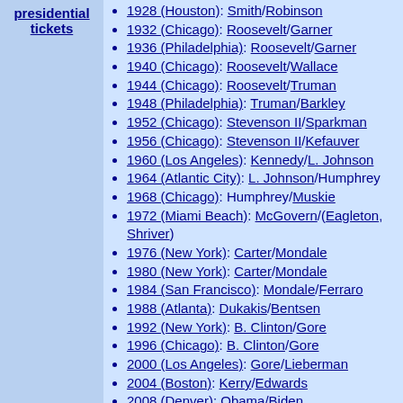presidential tickets
1928 (Houston): Smith/Robinson
1932 (Chicago): Roosevelt/Garner
1936 (Philadelphia): Roosevelt/Garner
1940 (Chicago): Roosevelt/Wallace
1944 (Chicago): Roosevelt/Truman
1948 (Philadelphia): Truman/Barkley
1952 (Chicago): Stevenson II/Sparkman
1956 (Chicago): Stevenson II/Kefauver
1960 (Los Angeles): Kennedy/L. Johnson
1964 (Atlantic City): L. Johnson/Humphrey
1968 (Chicago): Humphrey/Muskie
1972 (Miami Beach): McGovern/(Eagleton, Shriver)
1976 (New York): Carter/Mondale
1980 (New York): Carter/Mondale
1984 (San Francisco): Mondale/Ferraro
1988 (Atlanta): Dukakis/Bentsen
1992 (New York): B. Clinton/Gore
1996 (Chicago): B. Clinton/Gore
2000 (Los Angeles): Gore/Lieberman
2004 (Boston): Kerry/Edwards
2008 (Denver): Obama/Biden
2012 (Charlotte): Obama/Biden
2016 (Philadelphia): H. Clinton/Kaine